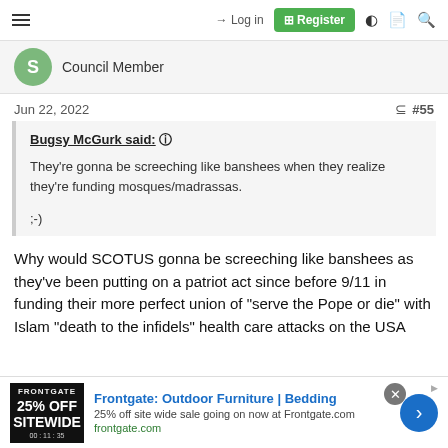≡  → Login  ⊞ Register
Council Member
Jun 22, 2022  #55
Bugsy McGurk said: ⊕
They're gonna be screeching like banshees when they realize they're funding mosques/madrassas.
;-)
Why would SCOTUS gonna be screeching like banshees as they've been putting on a patriot act since before 9/11 in funding their more perfect union of "serve the Pope or die" with Islam "death to the infidels" health care attacks on the USA
[Figure (screenshot): Advertisement banner for Frontgate: Outdoor Furniture | Bedding. 25% off site wide sale going on now at Frontgate.com. frontgate.com]